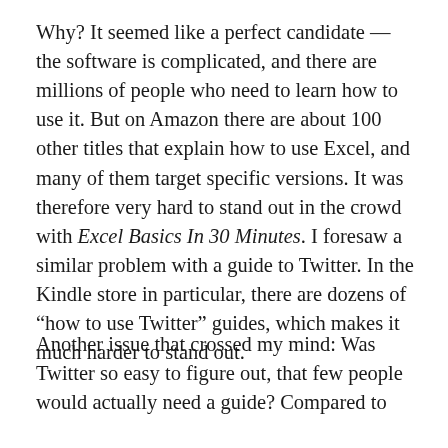Why? It seemed like a perfect candidate — the software is complicated, and there are millions of people who need to learn how to use it. But on Amazon there are about 100 other titles that explain how to use Excel, and many of them target specific versions. It was therefore very hard to stand out in the crowd with Excel Basics In 30 Minutes. I foresaw a similar problem with a guide to Twitter. In the Kindle store in particular, there are dozens of “how to use Twitter” guides, which makes it much harder to stand out.
Another issue that crossed my mind: Was Twitter so easy to figure out, that few people would actually need a guide? Compared to